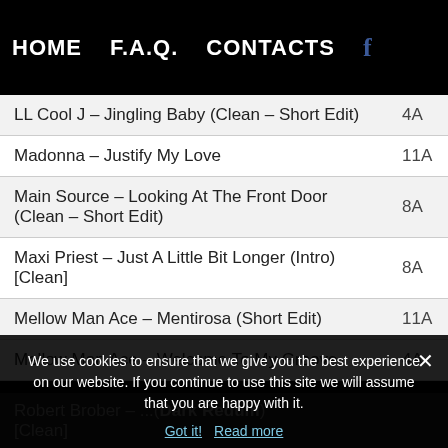HOME   F.A.Q.   CONTACTS   f
| Track | Key |
| --- | --- |
| LL Cool J – Jingling Baby (Clean – Short Edit) | 4A |
| Madonna – Justify My Love | 11A |
| Main Source – Looking At The Front Door (Clean – Short Edit) | 8A |
| Maxi Priest – Just A Little Bit Longer (Intro) [Clean] | 8A |
| Mellow Man Ace – Mentirosa (Short Edit) | 11A |
| Mellow Man Ace – Welcome To My Groove | 4A |
| Robert Brober – ... (Dark Redum) [Clean] |  |
We use cookies to ensure that we give you the best experience on our website. If you continue to use this site we will assume that you are happy with it.
Got it!   Read more